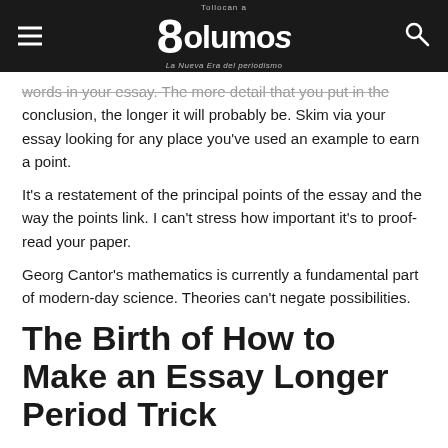Tollocan a 8columnas – La Nueva Era del periodismo
words in your essay. The more detail that you put in the conclusion, the longer it will probably be. Skim via your essay looking for any place you've used an example to earn a point.
It's a restatement of the principal points of the essay and the way the points link. I can't stress how important it's to proof-read your paper.
Georg Cantor's mathematics is currently a fundamental part of modern-day science. Theories can't negate possibilities.
The Birth of How to Make an Essay Longer Period Trick
Tempting as it's to make them with the VIP of the round, the